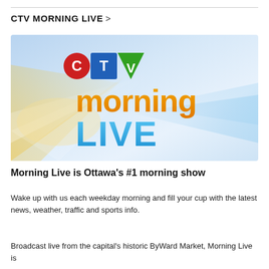CTV MORNING LIVE >
[Figure (illustration): CTV Morning Live show logo on a bright blue and yellow ray burst background. The logo shows 'CTV' in the top-left with a red circle C, blue square T, and green triangle V, above the word 'morning' in large orange letters and 'LIVE' in large blue letters.]
Morning Live is Ottawa's #1 morning show
Wake up with us each weekday morning and fill your cup with the latest news, weather, traffic and sports info.
Broadcast live from the capital's historic ByWard Market, Morning Live is